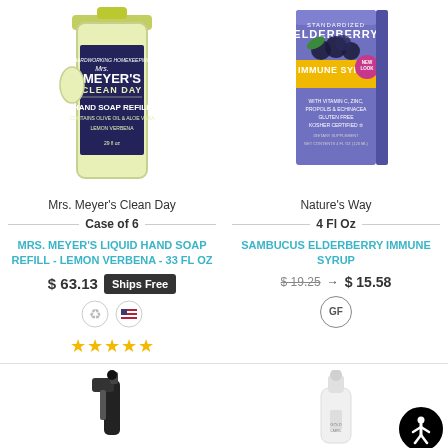[Figure (photo): Mrs. Meyer's Clean Day liquid hand soap refill bottle, lemon verbena scent, light yellow/green color]
[Figure (photo): Nature's Way Sambucus Elderberry Immune Syrup product box, purple with elderberries]
Mrs. Meyer's Clean Day
Nature's Way
Case of 6
4 Fl Oz
MRS. MEYER'S LIQUID HAND SOAP REFILL - LEMON VERBENA - 33 FL OZ
SAMBUCUS ELDERBERRY IMMUNE SYRUP
$ 63.13 Ships Free
$ 19.25 → $ 15.58
[Figure (photo): Small spray bottle product, partially visible]
[Figure (photo): White pump bottle product, partially visible]